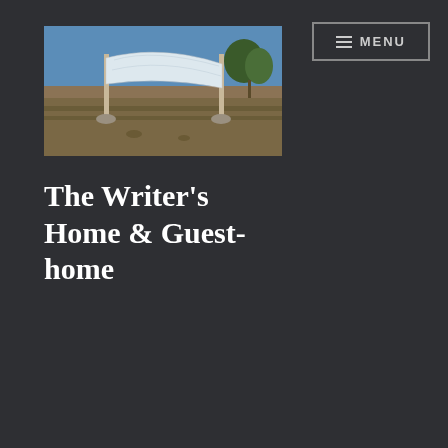[Figure (screenshot): Website navigation menu button with hamburger icon and MENU text, displayed with a border on dark background, top-right corner]
[Figure (photo): Outdoor photo showing a property with a large white fabric/tarp stretched between poles, stone wall in background, arid landscape, blue sky]
The Writer's Home & Guest-home